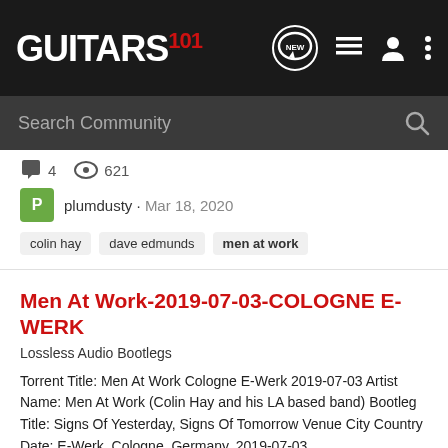GUITARS 101
Search Community
4  621
plumdusty · Mar 18, 2020
colin hay   dave edmunds   men at work
Men At Work-2019-07-03-COLOGNE E-WERK
Lossless Audio Bootlegs
Torrent Title: Men At Work Cologne E-Werk 2019-07-03 Artist Name: Men At Work (Colin Hay and his LA based band) Bootleg Title: Signs Of Yesterday, Signs Of Tomorrow Venue City Country Date: E-Werk, Cologne, Germany, 2019-07-03 TRACKS/SETLIST: 01 Intro 02 Touching The Untouchables 03 No...
0  401